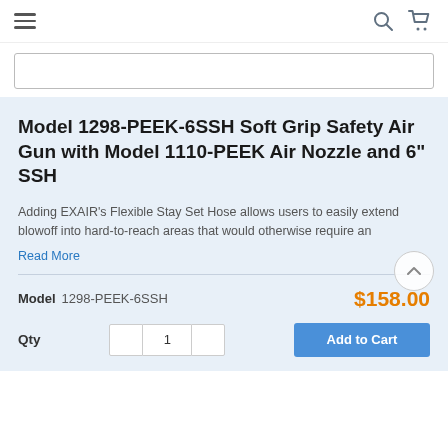Navigation header with hamburger menu, search icon, and cart icon
[Figure (screenshot): Search input box, empty]
Model 1298-PEEK-6SSH Soft Grip Safety Air Gun with Model 1110-PEEK Air Nozzle and 6" SSH
Adding EXAIR's Flexible Stay Set Hose allows users to easily extend blowoff into hard-to-reach areas that would otherwise require an
Read More
Model  1298-PEEK-6SSH   $158.00
Qty  1  Add to Cart